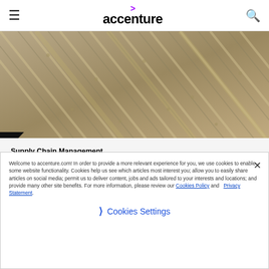accenture
[Figure (photo): Aerial or close-up view of semiconductor manufacturing equipment or circuit board tracks, showing diagonal metallic lines and industrial components in silver, gold, and brown tones.]
Supply Chain Management
Harnessing the power of the value chain
Semiconductor manufacturing is complex and
Welcome to accenture.com! In order to provide a more relevant experience for you, we use cookies to enable some website functionality. Cookies help us see which articles most interest you; allow you to easily share articles on social media; permit us to deliver content, jobs and ads tailored to your interests and locations; and provide many other site benefits. For more information, please review our Cookies Policy and Privacy Statement.
Cookies Settings